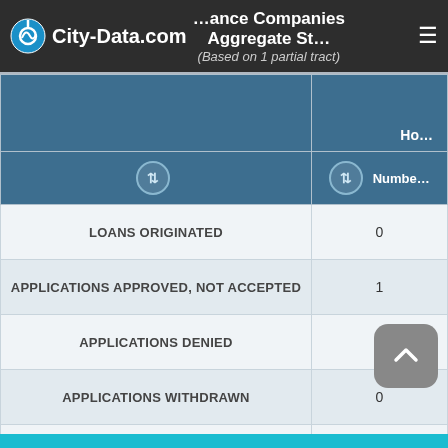City-Data.com — Mortgage Insurance Companies Aggregate Statistics (Based on 1 partial tract)
|  | Number |
| --- | --- |
| LOANS ORIGINATED | 0 |
| APPLICATIONS APPROVED, NOT ACCEPTED | 1 |
| APPLICATIONS DENIED | 0 |
| APPLICATIONS WITHDRAWN | 0 |
| FILES CLOSED FOR INCOMPLETENESS | 0 |
Detailed PMIC statistics for the following Tracts: 6...